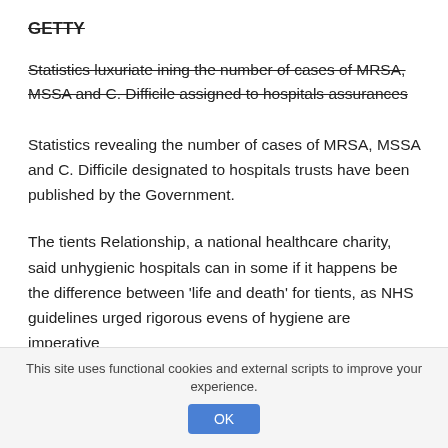GETTY
Statistics luxuriate ining the number of cases of MRSA, MSSA and C. Difficile assigned to hospitals assurances
Statistics revealing the number of cases of MRSA, MSSA and C. Difficile designated to hospitals trusts have been published by the Government.
The tients Relationship, a national healthcare charity, said unhygienic hospitals can in some if it happens be the difference between 'life and death' for tients, as NHS guidelines urged rigorous evens of hygiene are imperative
This site uses functional cookies and external scripts to improve your experience.